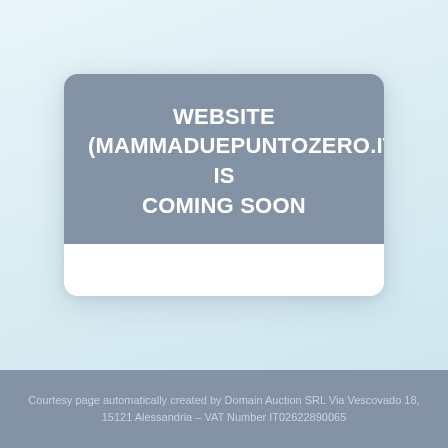WEBSITE (Mammaduepuntozero.it) IS COMING SOON
Courtesy page automatically created by Domain Auction SRL Via Vescovado 18, 15121 Alessandria – VAT Number IT02622890065